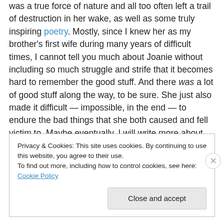was a true force of nature and all too often left a trail of destruction in her wake, as well as some truly inspiring poetry. Mostly, since I knew her as my brother's first wife during many years of difficult times, I cannot tell you much about Joanie without including so much struggle and strife that it becomes hard to remember the good stuff. And there was a lot of good stuff along the way, to be sure. She just also made it difficult — impossible, in the end — to endure the bad things that she both caused and fell victim to. Maybe eventually, I will write more about Joanie. But not soon.
Privacy & Cookies: This site uses cookies. By continuing to use this website, you agree to their use. To find out more, including how to control cookies, see here: Cookie Policy